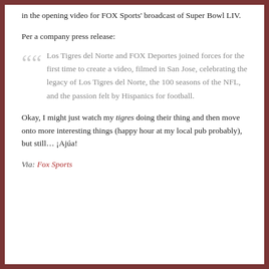in the opening video for FOX Sports' broadcast of Super Bowl LIV.
Per a company press release:
Los Tigres del Norte and FOX Deportes joined forces for the first time to create a video, filmed in San Jose, celebrating the legacy of Los Tigres del Norte, the 100 seasons of the NFL, and the passion felt by Hispanics for football.
Okay, I might just watch my tigres doing their thing and then move onto more interesting things (happy hour at my local pub probably), but still… ¡Ajúa!
Via: Fox Sports